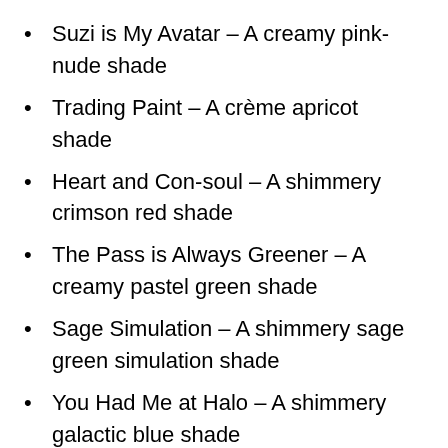Suzi is My Avatar – A creamy pink-nude shade
Trading Paint – A crème apricot shade
Heart and Con-soul – A shimmery crimson red shade
The Pass is Always Greener – A creamy pastel green shade
Sage Simulation – A shimmery sage green simulation shade
You Had Me at Halo – A shimmery galactic blue shade
Can't CTRL Me – shimmery robin's egg blue shade